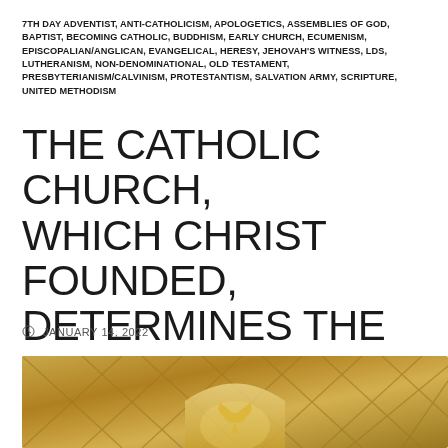7TH DAY ADVENTIST, ANTI-CATHOLICISM, APOLOGETICS, ASSEMBLIES OF GOD, BAPTIST, BECOMING CATHOLIC, BUDDHISM, EARLY CHURCH, ECUMENISM, EPISCOPALIAN/ANGLICAN, EVANGELICAL, HERESY, JEHOVAH'S WITNESS, LDS, LUTHERANISM, NON-DENOMINATIONAL, OLD TESTAMENT, PRESBYTERIANISM/CALVINISM, PROTESTANTISM, SALVATION ARMY, SCRIPTURE, UNITED METHODISM
THE CATHOLIC CHURCH, WHICH CHRIST FOUNDED, DETERMINES THE CANON OF THE BIBLE
JANUARY 14, 2022
[Figure (photo): Architectural interior photo showing a golden/warm-toned ceiling or dome with lattice/grid pattern and a central arch with a dove or bird motif below]